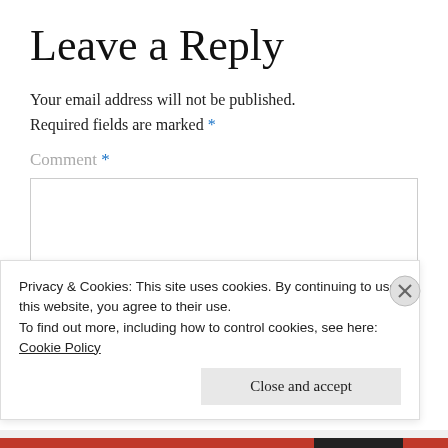Leave a Reply
Your email address will not be published. Required fields are marked *
Comment *
[Figure (screenshot): Empty textarea input box for comment entry]
Privacy & Cookies: This site uses cookies. By continuing to use this website, you agree to their use. To find out more, including how to control cookies, see here: Cookie Policy
Close and accept